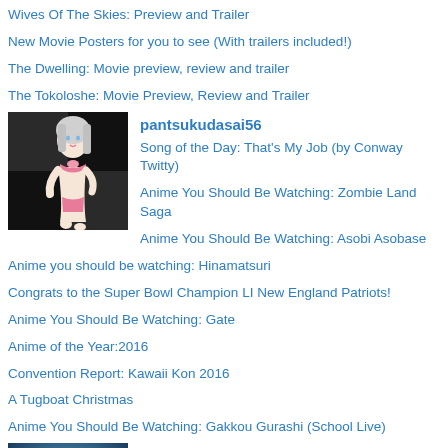Wives Of The Skies: Preview and Trailer
New Movie Posters for you to see (With trailers included!)
The Dwelling: Movie preview, review and trailer
The Tokoloshe: Movie Preview, Review and Trailer
[Figure (illustration): Anime-style illustration of a white-haired girl in a pink bikini in a checkered black and white background]
pantsukudasai56
Song of the Day: That’s My Job (by Conway Twitty)
Anime You Should Be Watching: Zombie Land Saga
Anime You Should Be Watching: Asobi Asobase
Anime you should be watching: Hinamatsuri
Congrats to the Super Bowl Champion LI New England Patriots!
Anime You Should Be Watching: Gate
Anime of the Year:2016
Convention Report: Kawaii Kon 2016
A Tugboat Christmas
Anime You Should Be Watching: Gakkou Gurashi (School Live)
[Figure (illustration): A character with pink/purple hair, realistic fantasy art style, teal/blue background]
Semtex Skittle
Sailor Moon Crystal – Act 7 – Mamoru Chiba!
Sailor Moon Crystal – Act 6 – Tuxedo Mask!